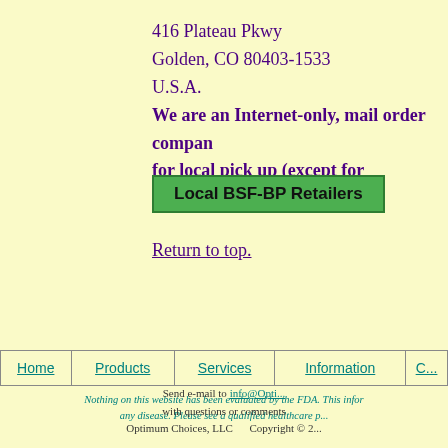416 Plateau Pkwy
Golden, CO 80403-1533
U.S.A.
We are an Internet-only, mail order company and are not set up for local pick up (except for emergencies). Pl...
[Figure (other): Green button labeled 'Local BSF-BP Retailers']
Return to top.
| Home | Products | Services | Information | C... |
| --- | --- | --- | --- | --- |
|  |
Nothing on this website has been evaluated by the FDA. This infor... any disease. Please see a qualified healthcare p...
Send e-mail to info@Opti... with questions or comments
Optimum Choices, LLC    Copyright © 2...